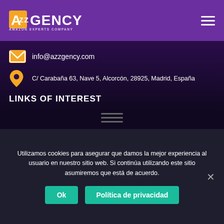AzzGENCY - AMAZON EXPERTS COMPANY
info@azzgency.com
C/ Carabaña 63, Nave 5, Alcorcón, 28925, Madrid, España
LINKS OF INTEREST
[Figure (infographic): Three horizontal lines icon (hamburger/menu icon)]
OUR SOLUTIONS
[Figure (infographic): Three horizontal lines icon (hamburger/menu icon)]
Utilizamos cookies para asegurar que damos la mejor experiencia al usuario en nuestro sitio web. Si continúa utilizando este sitio asumiremos que está de acuerdo.
Ok  Política de privacidad